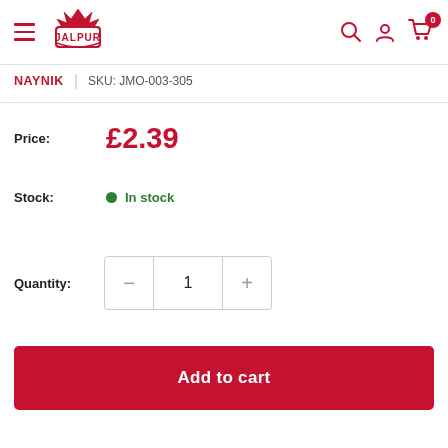JALPUR — Navigation header with hamburger menu, logo, search, account, and cart icons
NAYNIK | SKU: JMO-003-305
Price: £2.39
Stock: In stock
Quantity: 1
Add to cart